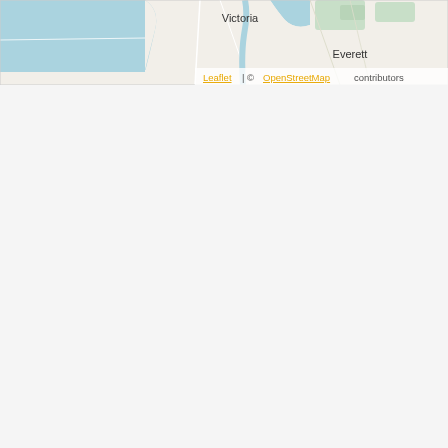[Figure (map): Partial OpenStreetMap view showing Victoria (BC, Canada) and Everett (WA, USA) areas with water bodies (Puget Sound/Strait of Juan de Fuca) in light blue. Map shows coastline, some roads and green areas. Attribution: Leaflet | © OpenStreetMap contributors.]